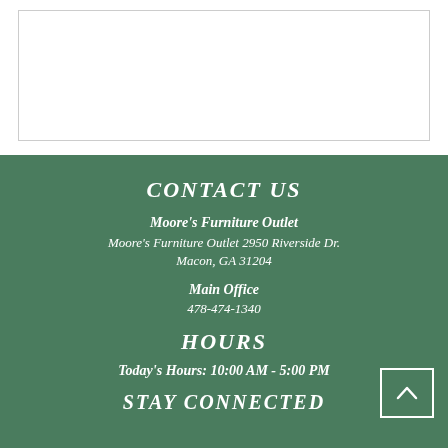[Figure (other): White rectangular box with light gray border, representing an empty content/image placeholder area.]
CONTACT US
Moore's Furniture Outlet
Moore's Furniture Outlet 2950 Riverside Dr.
Macon, GA 31204
Main Office
478-474-1340
HOURS
Today's Hours: 10:00 AM - 5:00 PM
STAY CONNECTED